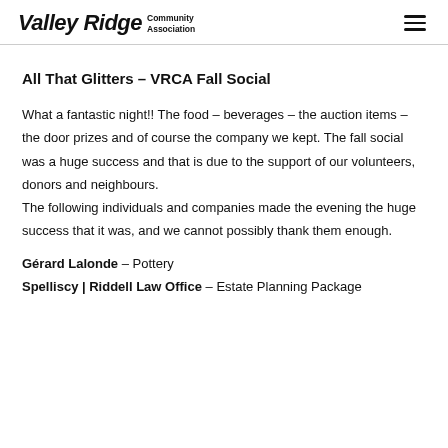[Figure (logo): Valley Ridge Community Association logo with stylized italic text]
All That Glitters – VRCA Fall Social
What a fantastic night!! The food – beverages – the auction items – the door prizes and of course the company we kept. The fall social was a huge success and that is due to the support of our volunteers, donors and neighbours. The following individuals and companies made the evening the huge success that it was, and we cannot possibly thank them enough.
Gérard Lalonde – Pottery
Spelliscy | Riddell Law Office – Estate Planning Package